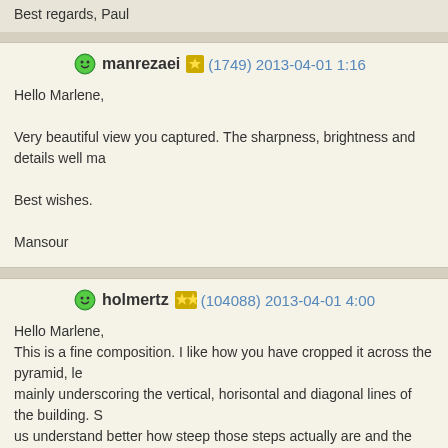Best regards, Paul
manrezaei (1749) 2013-04-01 1:16
Hello Marlene,
Very beautiful view you captured. The sharpness, brightness and details well ma
Best wishes.
Mansour
holmertz (104088) 2013-04-01 4:00
Hello Marlene,
This is a fine composition. I like how you have cropped it across the pyramid, le
mainly underscoring the vertical, horisontal and diagonal lines of the building. S
us understand better how steep those steps actually are and the effort it takes to
prefer to stay on the ground. The three groups of visitors give us life and colours
the dimensions. They are also neatly scattered across the view and thus balanc
Kind regards,
Gert
photoray (13981) 2013-04-17 6:27